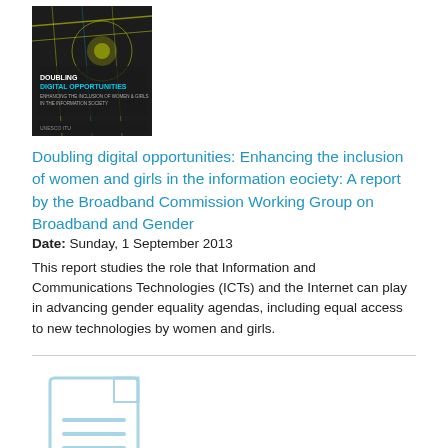[Figure (photo): Book cover of 'Doubling Digital Opportunities: Enhancing the Inclusion of Women and Girls in the Information Society']
Doubling digital opportunities: Enhancing the inclusion of women and girls in the information eociety: A report by the Broadband Commission Working Group on Broadband and Gender
Date: Sunday, 1 September 2013
This report studies the role that Information and Communications Technologies (ICTs) and the Internet can play in advancing gender equality agendas, including equal access to new technologies by women and girls.
[Figure (illustration): Generic document icon with lines representing text content, light blue outline style]
UN Security Council resolution 2106 on sexual violence in conflict (2013)